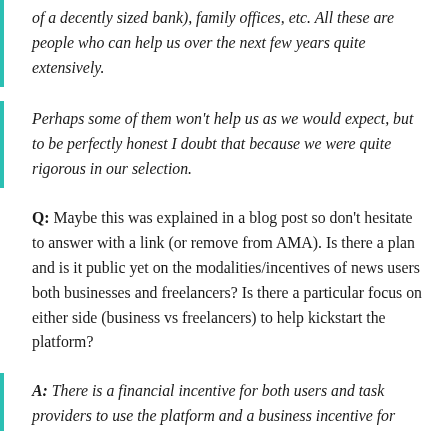of a decently sized bank), family offices, etc. All these are people who can help us over the next few years quite extensively.
Perhaps some of them won't help us as we would expect, but to be perfectly honest I doubt that because we were quite rigorous in our selection.
Q: Maybe this was explained in a blog post so don't hesitate to answer with a link (or remove from AMA). Is there a plan and is it public yet on the modalities/incentives of news users both businesses and freelancers? Is there a particular focus on either side (business vs freelancers) to help kickstart the platform?
A: There is a financial incentive for both users and task providers to use the platform and a business incentive for